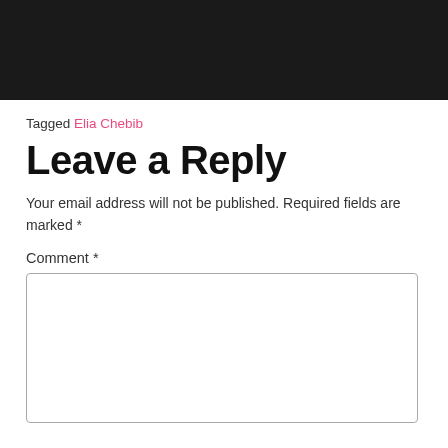[Figure (photo): Black rectangle banner at top of page]
Tagged Elia Chebib
Leave a Reply
Your email address will not be published. Required fields are marked *
Comment *